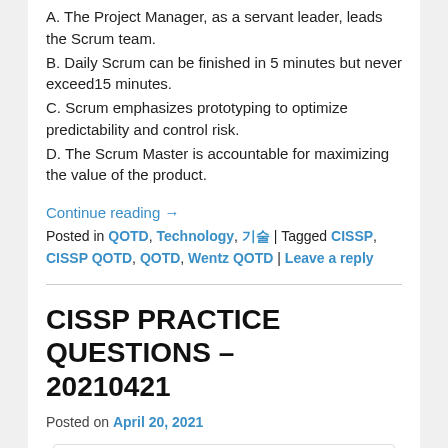A. The Project Manager, as a servant leader, leads the Scrum team.
B. Daily Scrum can be finished in 5 minutes but never exceed15 minutes.
C. Scrum emphasizes prototyping to optimize predictability and control risk.
D. The Scrum Master is accountable for maximizing the value of the product.
Continue reading →
Posted in QOTD, Technology, 기술 | Tagged CISSP, CISSP QOTD, QOTD, Wentz QOTD | Leave a reply
CISSP PRACTICE QUESTIONS – 20210421
Posted on April 20, 2021
[Figure (photo): Green image thumbnail for CISSP Practice Questions post]